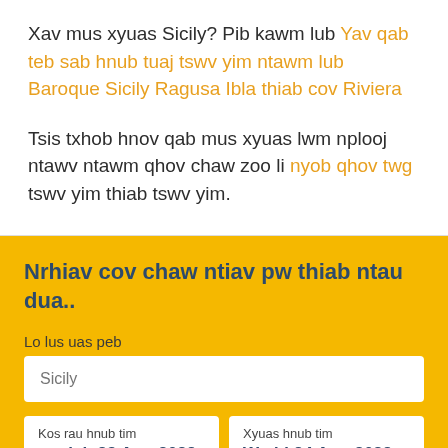Xav mus xyuas Sicily? Pib kawm lub Yav qab teb sab hnub tuaj tswv yim ntawm lub Baroque Sicily Ragusa Ibla thiab cov Riviera
Tsis txhob hnov qab mus xyuas lwm nplooj ntawv ntawm qhov chaw zoo li nyob qhov twg tswv yim thiab tswv yim.
Nrhiav cov chaw ntiav pw thiab ntau dua..
Lo lus uas peb
Sicily
Kos rau hnub tim
tu siab 23 Aug 2022
Xyuas hnub tim
Wedd 24 Aug 2022